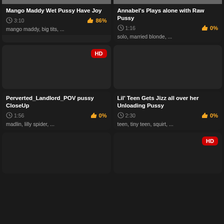[Figure (screenshot): Video thumbnail top strip row 1 left]
Mango Maddy Wet Pussy Have Joy
3:10  86%
mango maddy, big tits, ...
[Figure (screenshot): Video thumbnail top strip row 1 right]
Annabel's Plays alone with Raw Pussy
1:16  0%
solo, married blonde, ...
[Figure (screenshot): Dark video thumbnail row 2 left with HD badge]
[Figure (screenshot): Dark video thumbnail row 2 right]
Perverted_Landlord_POV pussy CloseUp
1:56  0%
madlin, lilly spider, ...
Lil' Teen Gets Jizz all over her Unloading Pussy
2:30  0%
teen, tiny teen, squirt, ...
[Figure (screenshot): Dark video thumbnail row 3 left]
[Figure (screenshot): Dark video thumbnail row 3 right with HD badge]